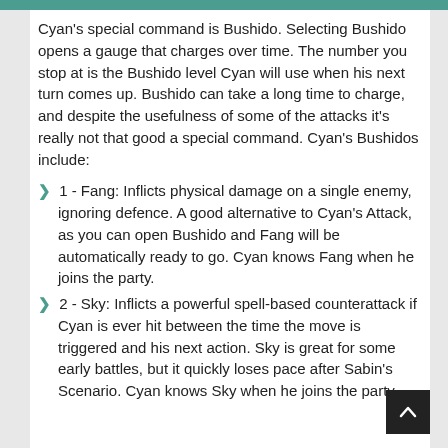Cyan's special command is Bushido. Selecting Bushido opens a gauge that charges over time. The number you stop at is the Bushido level Cyan will use when his next turn comes up. Bushido can take a long time to charge, and despite the usefulness of some of the attacks it's really not that good a special command. Cyan's Bushidos include:
❯ 1 - Fang: Inflicts physical damage on a single enemy, ignoring defence. A good alternative to Cyan's Attack, as you can open Bushido and Fang will be automatically ready to go. Cyan knows Fang when he joins the party.
❯ 2 - Sky: Inflicts a powerful spell-based counterattack if Cyan is ever hit between the time the move is triggered and his next action. Sky is great for some early battles, but it quickly loses pace after Sabin's Scenario. Cyan knows Sky when he joins the party.